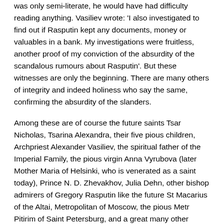was only semi-literate, he would have had difficulty reading anything. Vasiliev wrote: 'I also investigated to find out if Rasputin kept any documents, money or valuables in a bank. My investigations were fruitless, another proof of my conviction of the absurdity of the scandalous rumours about Rasputin'. But these witnesses are only the beginning. There are many others of integrity and indeed holiness who say the same, confirming the absurdity of the slanders.
Among these are of course the future saints Tsar Nicholas, Tsarina Alexandra, their five pious children, Archpriest Alexander Vasiliev, the spiritual father of the Imperial Family, the pious virgin Anna Vyrubova (later Mother Maria of Helsinki, who is venerated as a saint today), Prince N. D. Zhevakhov, Julia Dehn, other bishop admirers of Gregory Rasputin like the future St Macarius of the Altai, Metropolitan of Moscow, the pious Metr Pitirim of Saint Petersburg, and a great many other righteous, chaste, sober and honest men and women who loved Holy Rus. None of these believed in the scandalous slanders of some and many others...